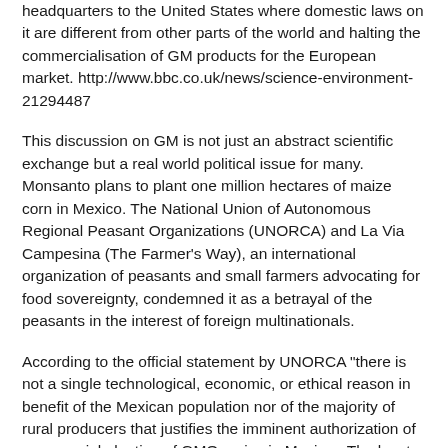headquarters to the United States where domestic laws on it are different from other parts of the world and halting the commercialisation of GM products for the European market. http://www.bbc.co.uk/news/science-environment-21294487
This discussion on GM is not just an abstract scientific exchange but a real world political issue for many. Monsanto plans to plant one million hectares of maize corn in Mexico. The National Union of Autonomous Regional Peasant Organizations (UNORCA) and La Via Campesina (The Farmer's Way), an international organization of peasants and small farmers advocating for food sovereignty, condemned it as a betrayal of the peasants in the interest of foreign multinationals.
According to the official statement by UNORCA "there is not a single technological, economic, or ethical reason in benefit of the Mexican population nor of the majority of rural producers that justifies the imminent authorization of commercial planting of GMO maize in Mexico...The key to increasing food production in the countryside, reducing poverty and ending hunger does not lie with GMOs. This is